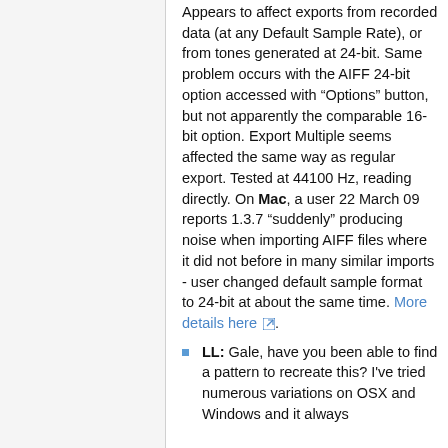Appears to affect exports from recorded data (at any Default Sample Rate), or from tones generated at 24-bit. Same problem occurs with the AIFF 24-bit option accessed with "Options" button, but not apparently the comparable 16-bit option. Export Multiple seems affected the same way as regular export. Tested at 44100 Hz, reading directly. On Mac, a user 22 March 09 reports 1.3.7 "suddenly" producing noise when importing AIFF files where it did not before in many similar imports - user changed default sample format to 24-bit at about the same time. More details here.
LL: Gale, have you been able to find a pattern to recreate this? I've tried numerous variations on OSX and Windows and it always